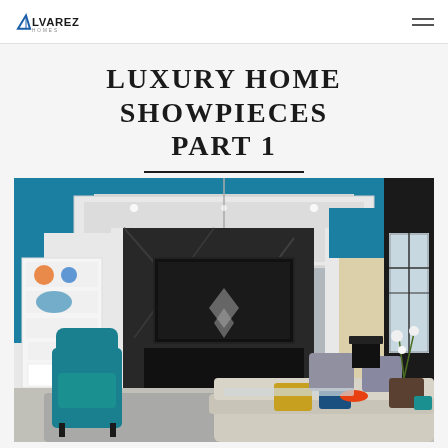Alvarez Homes
LUXURY HOME SHOWPIECES PART 1
[Figure (photo): Interior of a luxury living room with teal/turquoise accent walls, white arched doorways, a large black marble fireplace wall with mounted TV, a crystal ring chandelier, a teal velvet wingback chair, gray sectional sofa, gold and blue throw pillows, gray armchairs, black grand piano in background, white orchid arrangement on glass table, and decorative built-in shelving.]